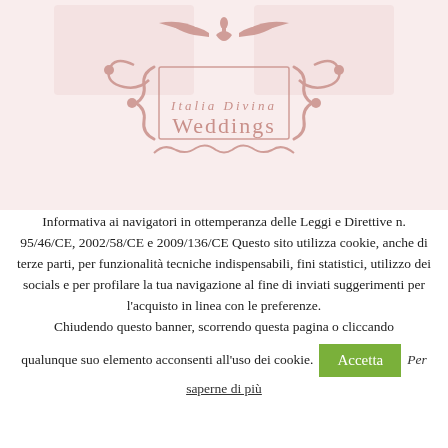[Figure (logo): Italia Divina Weddings decorative logo with ornamental flourishes, scrollwork, and curly braces in rose/mauve color]
Informativa ai navigatori in ottemperanza delle Leggi e Direttive n. 95/46/CE, 2002/58/CE e 2009/136/CE Questo sito utilizza cookie, anche di terze parti, per funzionalità tecniche indispensabili, fini statistici, utilizzo dei socials e per profilare la tua navigazione al fine di inviati suggerimenti per l'acquisto in linea con le preferenze. Chiudendo questo banner, scorrendo questa pagina o cliccando qualunque suo elemento acconsenti all'uso dei cookie.
Accetta
Per saperne di più